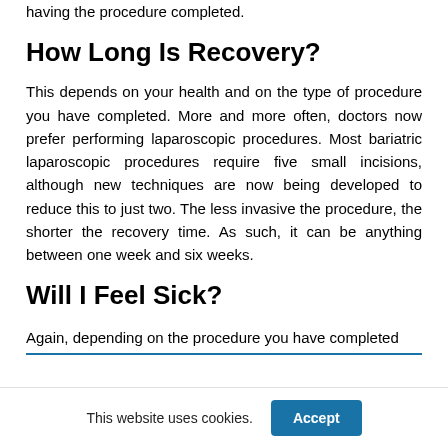having the procedure completed.
How Long Is Recovery?
This depends on your health and on the type of procedure you have completed. More and more often, doctors now prefer performing laparoscopic procedures. Most bariatric laparoscopic procedures require five small incisions, although new techniques are now being developed to reduce this to just two. The less invasive the procedure, the shorter the recovery time. As such, it can be anything between one week and six weeks.
Will I Feel Sick?
Again, depending on the procedure you have completed
This website uses cookies.